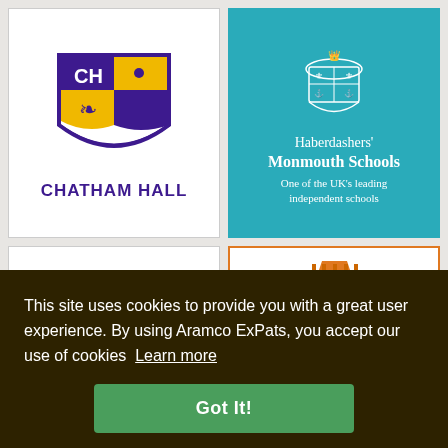[Figure (logo): Chatham Hall school crest with purple and gold shield, letters CH, fleur-de-lis, and text CHATHAM HALL below]
[Figure (logo): Haberdashers' Monmouth Schools logo on teal background with white coat of arms, school name and tagline 'One of the UK's leading independent schools']
[Figure (logo): Partially visible red shield/crest logo for a school]
[Figure (logo): Partially visible school logo with orange roof/building icon, blue letters ES, OL, and BLE text, orange border]
This site uses cookies to provide you with a great user experience. By using Aramco ExPats, you accept our use of cookies  Learn more
Got It!